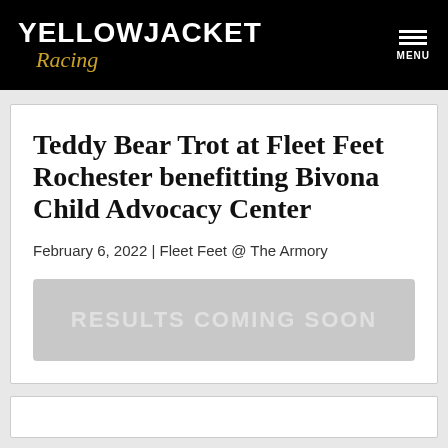YELLOWJACKET Racing | MENU
Teddy Bear Trot at Fleet Feet Rochester benefitting Bivona Child Advocacy Center
February 6, 2022 | Fleet Feet @ The Armory
RESULTS COMING SOON